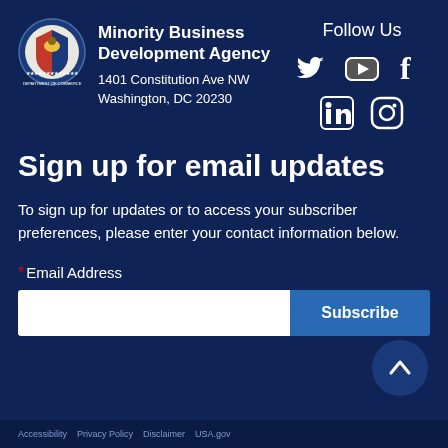[Figure (logo): Department of Commerce seal/logo circle with eagle emblem]
Minority Business Development Agency
1401 Constitution Ave NW
Washington, DC 20230
Follow Us
[Figure (infographic): Social media icons: Twitter, YouTube, Facebook, LinkedIn, Instagram]
Sign up for email updates
To sign up for updates or to access your subscriber preferences, please enter your contact information below.
*Email Address
[Figure (screenshot): Email address input field and Subscribe button]
[Figure (other): Scroll to top arrow button (dark circle with up chevron)]